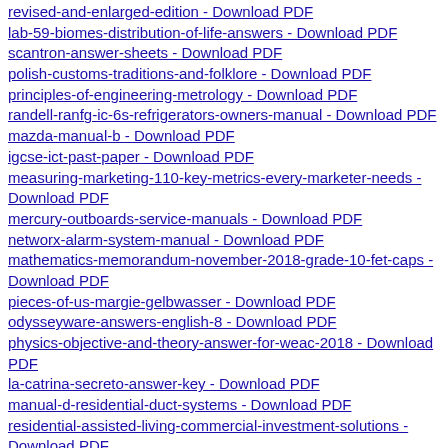revised-and-enlarged-edition - Download PDF
lab-59-biomes-distribution-of-life-answers - Download PDF
scantron-answer-sheets - Download PDF
polish-customs-traditions-and-folklore - Download PDF
principles-of-engineering-metrology - Download PDF
randell-ranfg-ic-6s-refrigerators-owners-manual - Download PDF
mazda-manual-b - Download PDF
igcse-ict-past-paper - Download PDF
measuring-marketing-110-key-metrics-every-marketer-needs - Download PDF
mercury-outboards-service-manuals - Download PDF
networx-alarm-system-manual - Download PDF
mathematics-memorandum-november-2018-grade-10-fet-caps - Download PDF
pieces-of-us-margie-gelbwasser - Download PDF
odysseyware-answers-english-8 - Download PDF
physics-objective-and-theory-answer-for-weac-2018 - Download PDF
la-catrina-secreto-answer-key - Download PDF
manual-d-residential-duct-systems - Download PDF
residential-assisted-living-commercial-investment-solutions - Download PDF
m-finance - Download PDF
religious-education-multiple-choice-cxc-past-paper - Download PDF